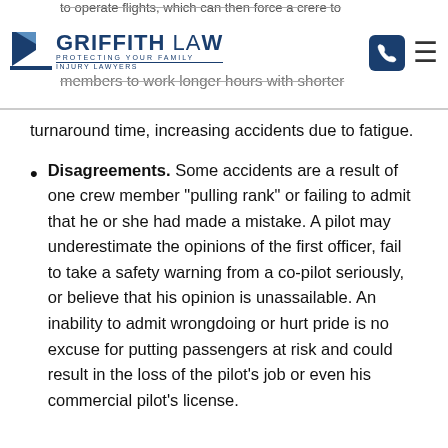Griffith Law — Protecting Your Family — Injury Lawyers
turnaround time, increasing accidents due to fatigue.
Disagreements. Some accidents are a result of one crew member “pulling rank” or failing to admit that he or she had made a mistake. A pilot may underestimate the opinions of the first officer, fail to take a safety warning from a co-pilot seriously, or believe that his opinion is unassailable. An inability to admit wrongdoing or hurt pride is no excuse for putting passengers at risk and could result in the loss of the pilot’s job or even his commercial pilot’s license.